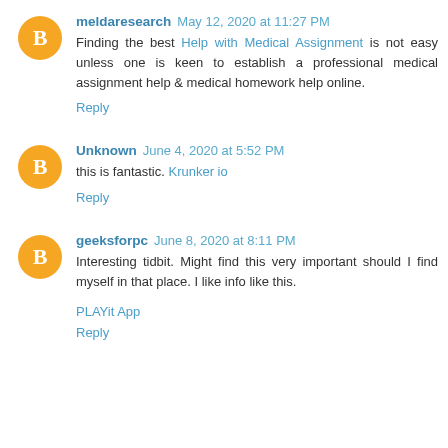meldaresearch May 12, 2020 at 11:27 PM — Finding the best Help with Medical Assignment is not easy unless one is keen to establish a professional medical assignment help & medical homework help online. Reply
Unknown June 4, 2020 at 5:52 PM — this is fantastic. Krunker io Reply
geeksforpc June 8, 2020 at 8:11 PM — Interesting tidbit. Might find this very important should I find myself in that place. I like info like this. PLAYit App Reply